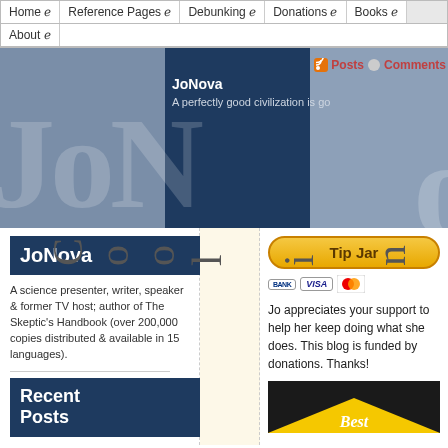Home | Reference Pages | Debunking | Donations | Books | About
[Figure (screenshot): JoNova website header banner with dark blue panel, watermark text JoNo, tagline 'A perfectly good civilization is go...' and RSS Posts/Comments links]
JoNova
A science presenter, writer, speaker & former TV host; author of The Skeptic's Handbook (over 200,000 copies distributed & available in 15 languages).
Recent Posts
[Figure (other): Vertical text spelling 'Coin' in large grey letters on cream background]
[Figure (other): Tip Jar button (gold/orange rounded rectangle) with BANK, VISA, Mastercard payment icons below]
Jo appreciates your support to help her keep doing what she does. This blog is funded by donations. Thanks!
[Figure (other): Black and yellow image with 'Best' text in italic script]